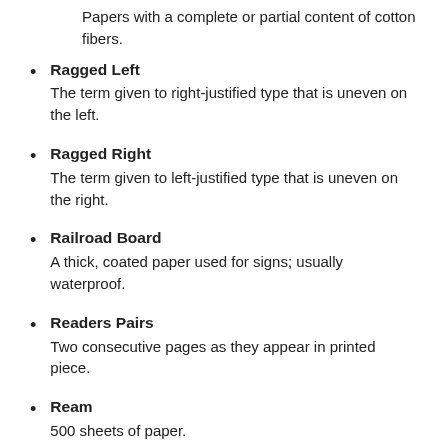Papers with a complete or partial content of cotton fibers.
Ragged Left: The term given to right-justified type that is uneven on the left.
Ragged Right: The term given to left-justified type that is uneven on the right.
Railroad Board: A thick, coated paper used for signs; usually waterproof.
Readers Pairs: Two consecutive pages as they appear in printed piece.
Ream: 500 sheets of paper.